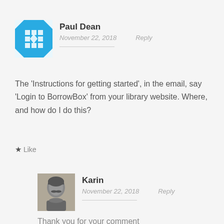[Figure (illustration): Avatar for Paul Dean - blue geometric pattern icon]
Paul Dean
November 22, 2018   Reply
The 'Instructions for getting started', in the email, say 'Login to BorrowBox' from your library website. Where, and how do I do this?
★ Like
[Figure (photo): Black and white photo of Karin - a person with mustache]
Karin
November 22, 2018   Reply
Thank you for your comment